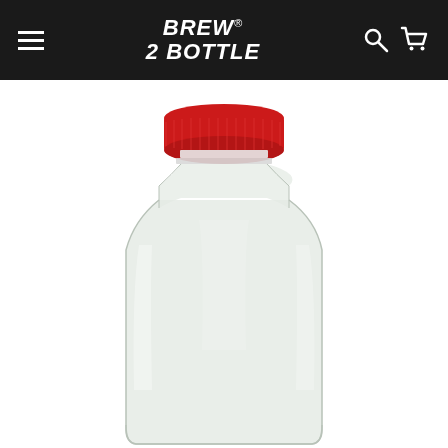BREW 2 BOTTLE — website header with navigation and logo
[Figure (photo): A clear plastic PET fermentation jug/bottle with a red screw-on cap, photographed on a white background. The bottle is wide-bodied and slightly tapered toward the neck.]